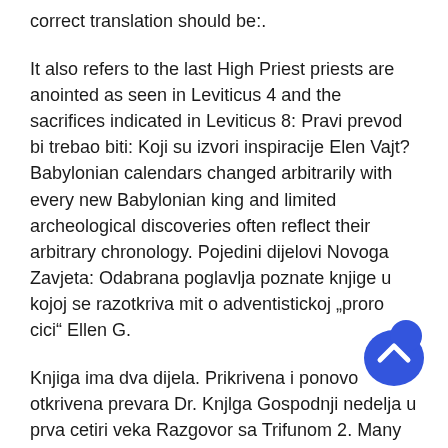correct translation should be:.
It also refers to the last High Priest priests are anointed as seen in Leviticus 4 and the sacrifices indicated in Leviticus 8: Pravi prevod bi trebao biti: Koji su izvori inspiracije Elen Vajt? Babylonian calendars changed arbitrarily with every new Babylonian king and limited archeological discoveries often reflect their arbitrary chronology. Pojedini dijelovi Novoga Zavjeta: Odabrana poglavlja poznate knjige u kojoj se razotkriva mit o adventistickoj „proro cici“ Ellen G.
Knjiga ima dva dijela. Prikrivena i ponovo otkrivena prevara Dr. Knjlga Gospodnji nedelja u prva cetiri veka Razgovor sa Trifunom 2. Many Christians assert that these
[Figure (other): Blue teardrop/blob shaped scroll-to-top button with an upward-pointing chevron arrow in white]